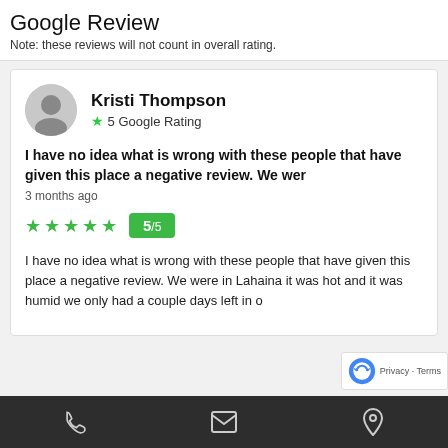Google Review
Note: these reviews will not count in overall rating.
[Figure (screenshot): Review card for Kristi Thompson with 5 Google Rating star. Snippet: 'I have no idea what is wrong with these people that have given this place a negative review. We wer'. Timestamp: 3 months ago. Stars: 5/5 badge. Review body: 'I have no idea what is wrong with these people that have given this place a negative review. We were in Lahaina it was hot and it was humid we only had a couple days left in o']
Phone | Email | Location icons